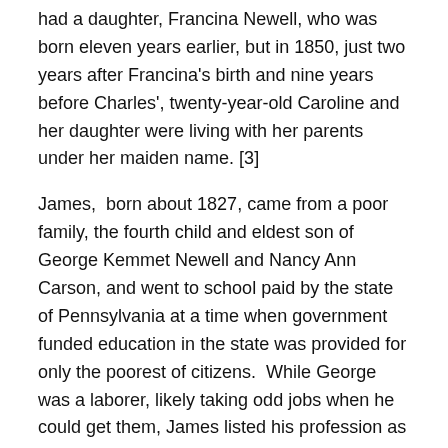had a daughter, Francina Newell, who was born eleven years earlier, but in 1850, just two years after Francina's birth and nine years before Charles', twenty-year-old Caroline and her daughter were living with her parents under her maiden name. [3]
James,  born about 1827, came from a poor family, the fourth child and eldest son of George Kemmet Newell and Nancy Ann Carson, and went to school paid by the state of Pennsylvania at a time when government funded education in the state was provided for only the poorest of citizens.  While George was a laborer, likely taking odd jobs when he could get them, James listed his profession as that of a shoemaker, although his trade did not appear to advantage Caroline or her two children.  Although James registered for the draft in 1863, he did not serve in